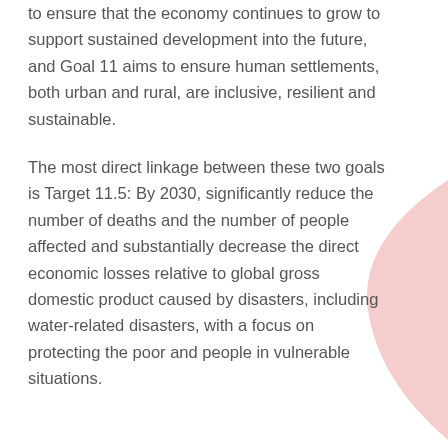to ensure that the economy continues to grow to support sustained development into the future, and Goal 11 aims to ensure human settlements, both urban and rural, are inclusive, resilient and sustainable.
The most direct linkage between these two goals is Target 11.5: By 2030, significantly reduce the number of deaths and the number of people affected and substantially decrease the direct economic losses relative to global gross domestic product caused by disasters, including water-related disasters, with a focus on protecting the poor and people in vulnerable situations.